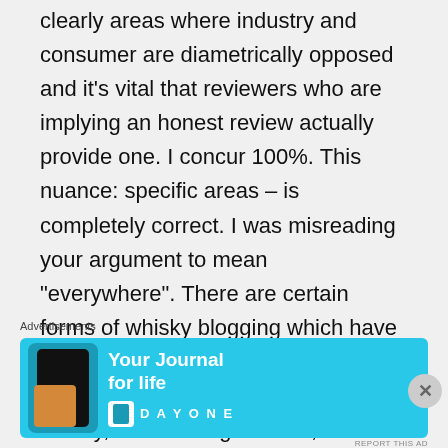clearly areas where industry and consumer are diametrically opposed and it's vital that reviewers who are implying an honest review actually provide one. I concur 100%. This nuance: specific areas – is completely correct. I was misreading your argument to mean “everywhere”. There are certain forms of whisky blogging which have nothing to do with the consumer value equation (such as writing history, interviewing authors,
Advertisements
[Figure (infographic): Day One app advertisement banner with cyan background. Shows phone mockup on left, text 'Your Journal for life' in white bold, and Day One brand logo on right.]